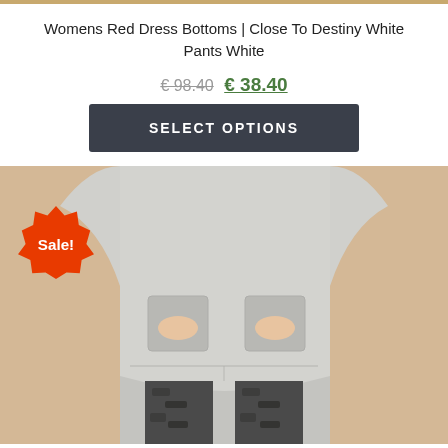Womens Red Dress Bottoms | Close To Destiny White Pants White
€ 98.40  € 38.40
SELECT OPTIONS
[Figure (photo): Woman wearing a light grey long sweatshirt tunic with front pockets and dark camouflage print leggings, photographed against a warm beige background. A red 'Sale!' starburst badge overlays the top left of the image.]